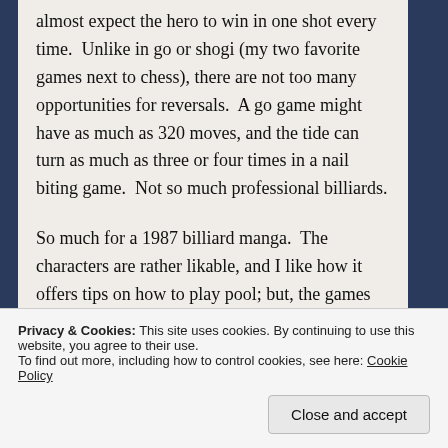almost expect the hero to win in one shot every time.  Unlike in go or shogi (my two favorite games next to chess), there are not too many opportunities for reversals.  A go game might have as much as 320 moves, and the tide can turn as much as three or four times in a nail biting game.  Not so much professional billiards.
So much for a 1987 billiard manga.  The characters are rather likable, and I like how it offers tips on how to play pool; but, the games become atrociously dull.
Privacy & Cookies: This site uses cookies. By continuing to use this website, you agree to their use.
To find out more, including how to control cookies, see here: Cookie Policy